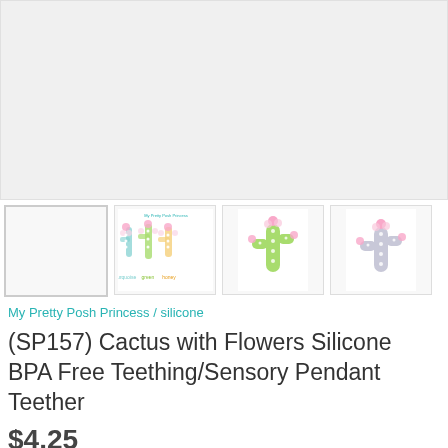[Figure (photo): Main product image area — light gray placeholder rectangle for cactus teether product photo]
[Figure (photo): Thumbnail 1 — blank/empty placeholder]
[Figure (photo): Thumbnail 2 — multiple cactus silicone teethers in various colors with flowers, My Pretty Posh Princess branding text]
[Figure (photo): Thumbnail 3 — single green cactus silicone teether with pink flowers]
[Figure (photo): Thumbnail 4 — single light purple/gray cactus silicone teether with pink flowers]
My Pretty Posh Princess / silicone
(SP157) Cactus with Flowers Silicone BPA Free Teething/Sensory Pendant Teether
$4.25